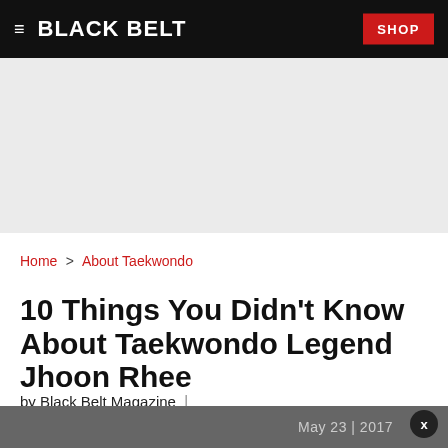BLACK BELT | SHOP
[Figure (other): Gray advertisement banner placeholder area]
Home > About Taekwondo
10 Things You Didn't Know About Taekwondo Legend Jhoon Rhee
by Black Belt Magazine |
May 23 | 2017